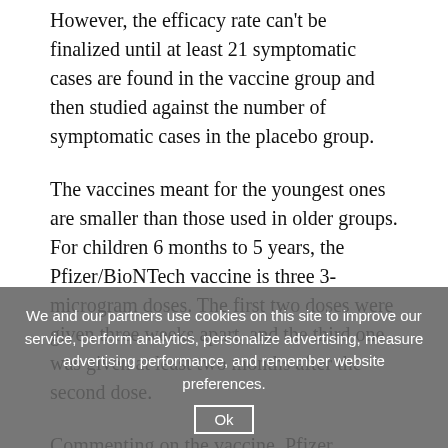However, the efficacy rate can't be finalized until at least 21 symptomatic cases are found in the vaccine group and then studied against the number of symptomatic cases in the placebo group.
The vaccines meant for the youngest ones are smaller than those used in older groups. For children 6 months to 5 years, the Pfizer/BioNTech vaccine is three 3-microgram doses. The first two doses were given three weeks apart, and the third one was given at least two months after the second dose.
Commenting on the vaccine, Pfizer Chairman and CEO Albert Bourla recently said, “These top line safety, immunogenicity and efficacy data are encouraging, and we look forward to soon completing our submissions to regulators globally with the hope of making this vaccine available to younger children as
Children ... who are not eligible for vaccination against Covid-19 in the U.S. The vaccine for this group was delayed when brought about the
We and our partners use cookies on this site to improve our service, perform analytics, personalize advertising, measure advertising performance, and remember website preferences.
Ok